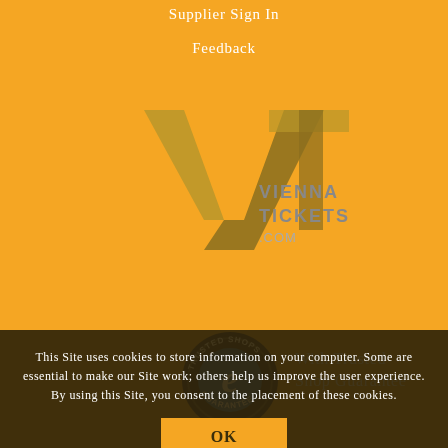Supplier Sign In
Feedback
[Figure (logo): Vienna Tickets .com logo — a stylized V and T lettermark in dark gold, with text 'VIENNA TICKETS .COM' in grey to the right]
[Figure (logo): Trusted Shops Guarantee badge — circular dark badge with 'TRUSTED SHOPS' and 'GUARANTEE' text around a blue 'e' in the center]
With Trusted Shop Guarantee
This Site uses cookies to store information on your computer. Some are essential to make our Site work; others help us improve the user experience. By using this Site, you consent to the placement of these cookies.
OK
Privacy Policy